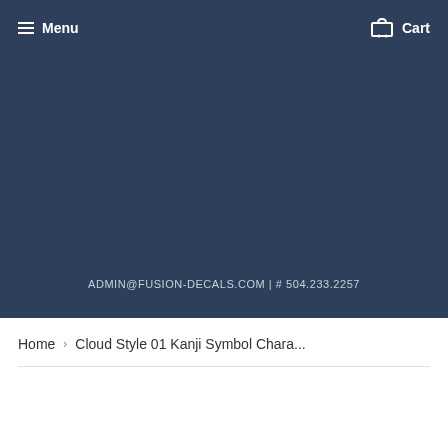Menu  Cart
[Figure (screenshot): Dark navy hero banner with contact information text: ADMIN@FUSION-DECALS.COM | # 504.233.2257]
ADMIN@FUSION-DECALS.COM | # 504.233.2257
Home  ›  Cloud Style 01 Kanji Symbol Chara...